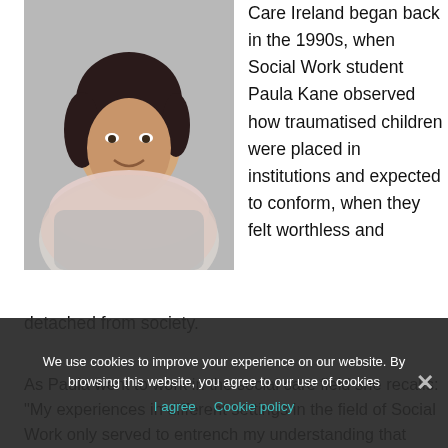[Figure (photo): Portrait photo of a woman with dark hair, wearing a light grey cardigan and pale pink scarf, smiling, against a grey background.]
Care Ireland began back in the 1990s, when Social Work student Paula Kane observed how traumatised children were placed in institutions and expected to conform, when they felt worthless and detached from society.
As Paula went to work in the social care field she recalls: "My experiences in different settings in the field of Social Work only served to entrench my understanding that these children had no voice, no
We use cookies to improve your experience on our website. By browsing this website, you agree to our use of cookies
I agree   Cookie policy